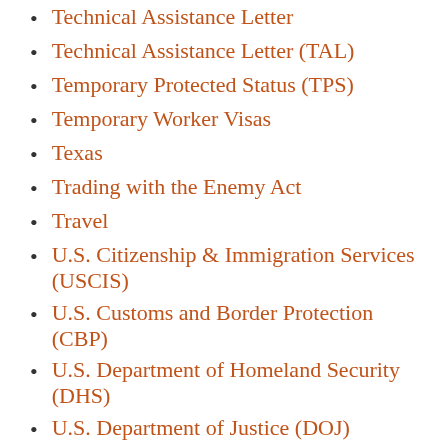Technical Assistance Letter
Technical Assistance Letter (TAL)
Temporary Protected Status (TPS)
Temporary Worker Visas
Texas
Trading with the Enemy Act
Travel
U.S. Citizenship & Immigration Services (USCIS)
U.S. Customs and Border Protection (CBP)
U.S. Department of Homeland Security (DHS)
U.S. Department of Justice (DOJ)
U.S. Department of Labor (DOL)
U.S. Department of State (DOS)
U.S. Immigration and Customs Enforcement (ICE)